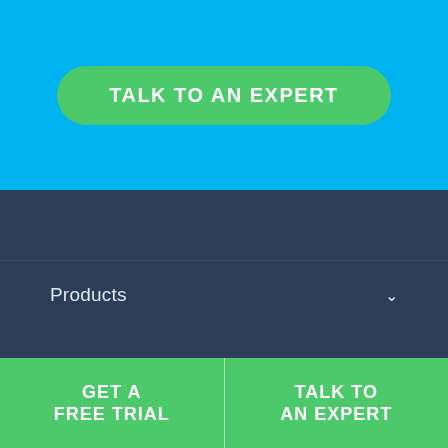TALK TO AN EXPERT
Products
International Numbers
GET A FREE TRIAL
TALK TO AN EXPERT